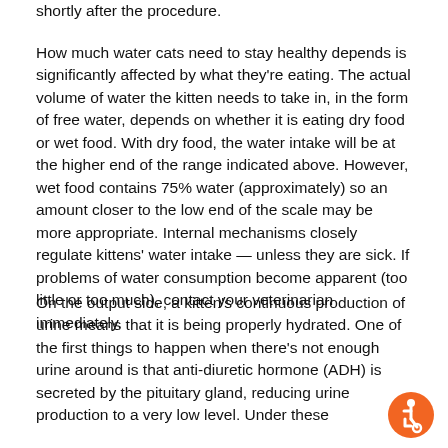shortly after the procedure.
How much water cats need to stay healthy depends is significantly affected by what they're eating. The actual volume of water the kitten needs to take in, in the form of free water, depends on whether it is eating dry food or wet food. With dry food, the water intake will be at the higher end of the range indicated above. However, wet food contains 75% water (approximately) so an amount closer to the low end of the scale may be more appropriate. Internal mechanisms closely regulate kittens' water intake — unless they are sick. If problems of water consumption become apparent (too little or too much), contact your veterinarian immediately.
On the output side, a kitten's continuous production of urine means that it is being properly hydrated. One of the first things to happen when there's not enough urine around is that anti-diuretic hormone (ADH) is secreted by the pituitary gland, reducing urine production to a very low level. Under these